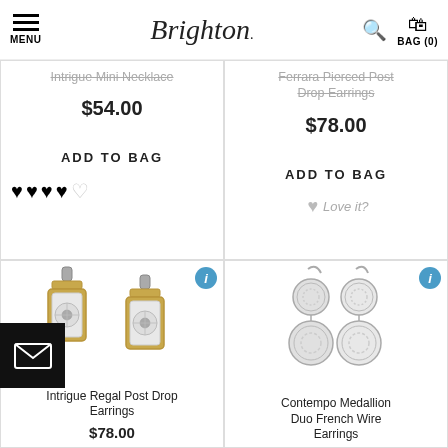MENU | Brighton. | Search | BAG (0)
Intrigue Mini Necklace
$54.00
ADD TO BAG
[Figure (other): 4 filled hearts and 1 empty heart rating]
Ferrara Pierced Post Drop Earrings
$78.00
ADD TO BAG
Love it?
[Figure (photo): Intrigue Regal Post Drop Earrings - gold and silver rectangular earrings with floral motif]
Intrigue Regal Post Drop Earrings
$78.00
[Figure (photo): Contempo Medallion Duo French Wire Earrings - silver circular filigree drop earrings]
Contempo Medallion Duo French Wire Earrings